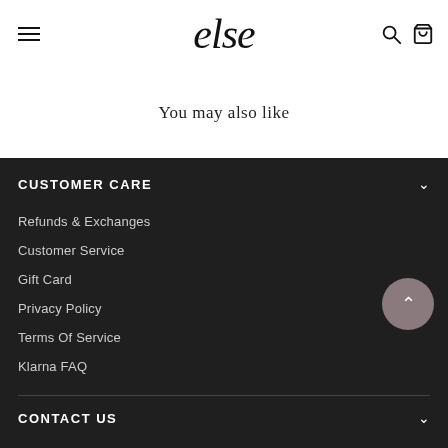else
You may also like
CUSTOMER CARE
Refunds & Exchanges
Customer Service
Gift Card
Privacy Policy
Terms Of Service
Klarna FAQ
CONTACT US